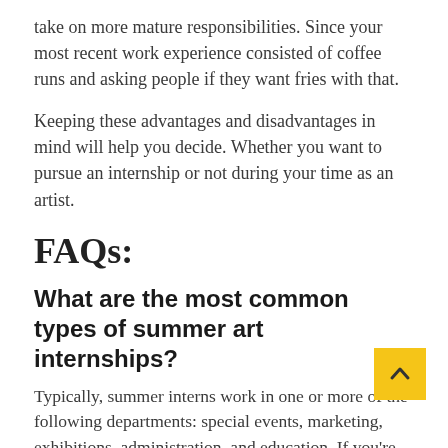take on more mature responsibilities. Since your most recent work experience consisted of coffee runs and asking people if they want fries with that.
Keeping these advantages and disadvantages in mind will help you decide. Whether you want to pursue an internship or not during your time as an artist.
FAQs:
What are the most common types of summer art internships?
Typically, summer interns work in one or more of the following departments: special events, marketing, exhibitions, administration, and education. If you're just starting out in your career as an artist, It may be difficult to get into any